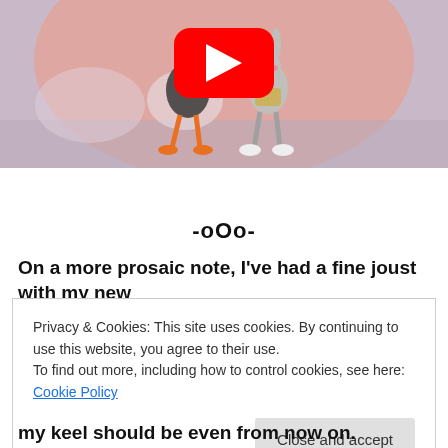[Figure (screenshot): YouTube video thumbnail showing Daffy Duck and Bugs Bunny cartoon characters from Looney Tunes, with a YouTube play button overlay in the center.]
-oOo-
On a more prosaic note, I've had a fine joust with my new
Privacy & Cookies: This site uses cookies. By continuing to use this website, you agree to their use.
To find out more, including how to control cookies, see here: Cookie Policy

Close and accept
my keel should be even from now on.